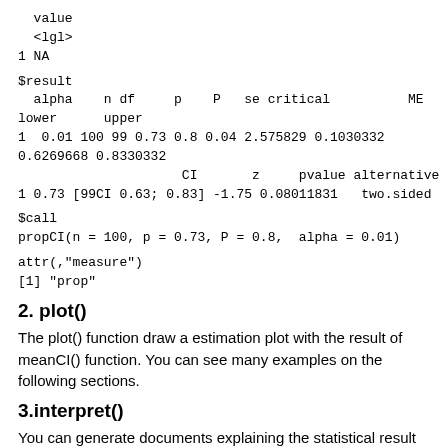value
<lgl>
1 NA
$result
  alpha    n df     p    P   se critical          ME
lower      upper
1  0.01 100 99 0.73 0.8 0.04 2.575829 0.1030332
0.6269668 0.8330332
                     CI       z     pvalue alternative
1 0.73 [99CI 0.63; 0.83] -1.75 0.08011831   two.sided
$call
propCI(n = 100, p = 0.73, P = 0.8,  alpha = 0.01)
attr(,"measure")
[1] "prop"
2. plot()
The plot() function draw a estimation plot with the result of meanCI() function. You can see many examples on the following sections.
3.interpret()
You can generate documents explaining the statistical result step